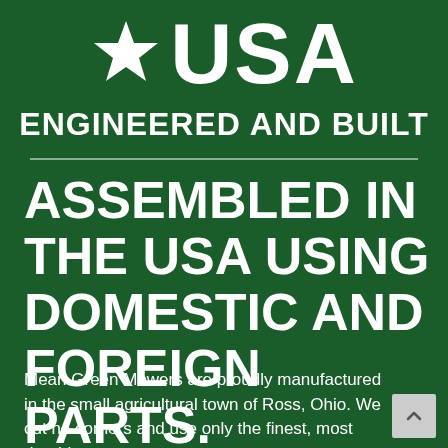[Figure (logo): White star icon followed by large white 'USA' text on dark green background]
ENGINEERED AND BUILT
ASSEMBLED IN THE USA USING DOMESTIC AND FOREIGN PARTS.
Mean Green Mowers are proudly manufactured in the small agricultural town of Ross, Ohio. We cut no corners and use only the finest, most durable